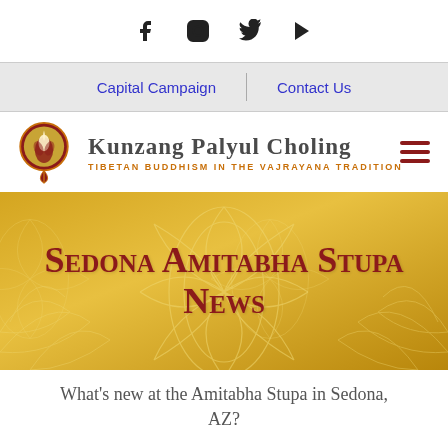[Figure (other): Social media icons bar: Facebook, Instagram, Twitter, YouTube]
Capital Campaign | Contact Us
[Figure (logo): Kunzang Palyul Choling logo with lotus flame emblem. Text: KUNZANG PALYUL CHOLING, TIBETAN BUDDHISM IN THE VAJRAYANA TRADITION]
[Figure (illustration): Golden banner with lotus flower line art background. Text: Sedona Amitabha Stupa News]
What's new at the Amitabha Stupa in Sedona, AZ?